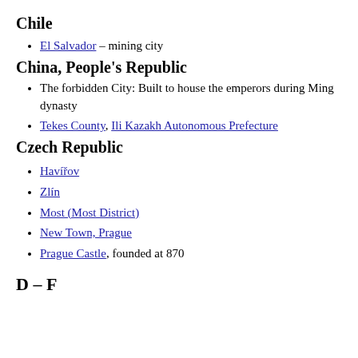Chile
El Salvador – mining city
China, People's Republic
The forbidden City: Built to house the emperors during Ming dynasty
Tekes County, Ili Kazakh Autonomous Prefecture
Czech Republic
Havířov
Zlín
Most (Most District)
New Town, Prague
Prague Castle, founded at 870
D – F